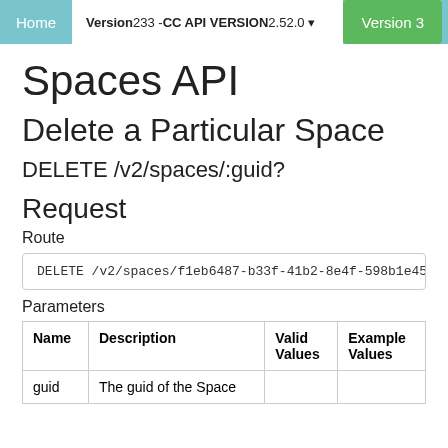Home | Version 233 - CC API VERSION 2.52.0 | Version 3
Spaces API
Delete a Particular Space
DELETE /v2/spaces/:guid?
Request
Route
DELETE /v2/spaces/f1eb6487-b33f-41b2-8e4f-598b1e45e1
Parameters
| Name | Description | Valid Values | Example Values |
| --- | --- | --- | --- |
| guid | The guid of the Space |  |  |